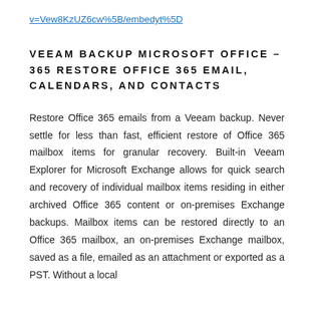v=Vew8KzUZ6cw%5B/embedyt%5D
VEEAM BACKUP MICROSOFT OFFICE – 365 RESTORE OFFICE 365 EMAIL, CALENDARS, AND CONTACTS
Restore Office 365 emails from a Veeam backup. Never settle for less than fast, efficient restore of Office 365 mailbox items for granular recovery. Built-in Veeam Explorer for Microsoft Exchange allows for quick search and recovery of individual mailbox items residing in either archived Office 365 content or on-premises Exchange backups. Mailbox items can be restored directly to an Office 365 mailbox, an on-premises Exchange mailbox, saved as a file, emailed as an attachment or exported as a PST. Without a local